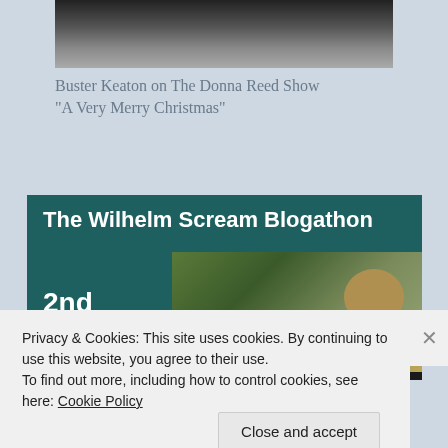[Figure (photo): Black and white photo showing feet/shoes of Buster Keaton, partial view from a TV show appearance]
Buster Keaton on The Donna Reed Show "A Very Merry Christmas"
[Figure (illustration): The Wilhelm Scream Blogathon promotional banner with teal/dark green background, bold white text reading 'The Wilhelm Scream Blogathon', '2nd to', and an image of Indiana Jones style character with hat]
Privacy & Cookies: This site uses cookies. By continuing to use this website, you agree to their use.
To find out more, including how to control cookies, see here: Cookie Policy